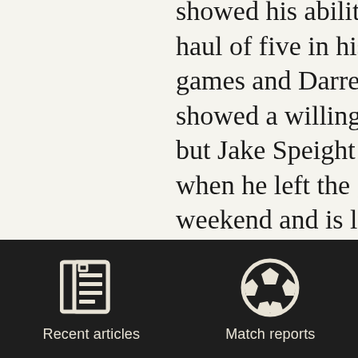showed his abilities wi... haul of five in his last t... games and Darren Ste... showed a willingness l... but Jake Speight was m... when he left the game... weekend and is likely t... partnering James Hans...
Hanson dominates def... He does that because h... knows how to "Jockey...
[Figure (illustration): Newspaper/article icon in white on dark background, representing Recent articles]
Recent articles
[Figure (illustration): Soccer ball icon in white on dark background, representing Match reports]
Match reports